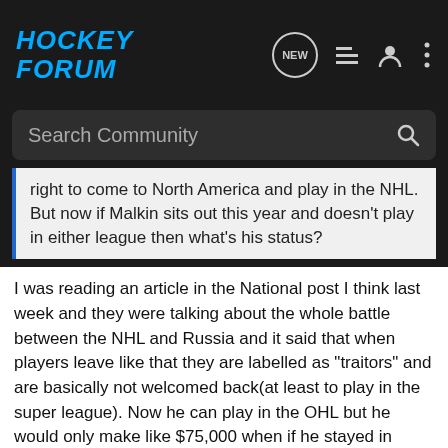[Figure (logo): Hockey Forum logo in blue italic bold text on dark background, with navigation icons: NEW speech bubble, list icon, user icon, three-dot menu]
Search Community
right to come to North America and play in the NHL. But now if Malkin sits out this year and doesn't play in either league then what's his status?
I was reading an article in the National post I think last week and they were talking about the whole battle between the NHL and Russia and it said that when players leave like that they are labelled as "traitors" and are basically not welcomed back(at least to play in the super league). Now he can play in the OHL but he would only make like $75,000 when if he stayed in Russia it was around $400,000(those number could be incorrect they just stick out the most from what i remember from the article).
If he wouldn't be in the NHL for some reason imagine seeing him in the OHL and all the attentance there would be for whatever team he would play on. The new poster boy for the